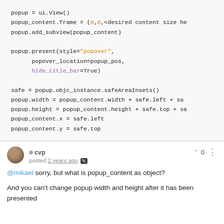[Figure (screenshot): Code block showing Python/scripting code with monospace font on light grey background. Lines include: popup = ui.View(), popup_content.frame = (0,0,<desired content size he, popup.add_subview(popup_content), popup.present(style="popover", popover_location=popup_pos, hide_title_bar=True), safe = popup.objc_instance.safeAreaInsets(), popup.width = popup_content.width + safe.left + sa, popup.height = popup_content.height + safe.top + sa, popup_content.x = safe.left, popup_content.y = safe.top]
cvp posted 2 years ago
@mikael sorry, but what is popup_content as object?
And you can't change popup width and height after it has been presented